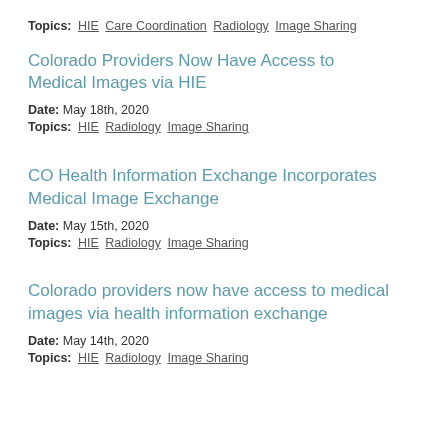Topics: HIE Care Coordination Radiology Image Sharing
Colorado Providers Now Have Access to Medical Images via HIE
Date: May 18th, 2020
Topics: HIE Radiology Image Sharing
CO Health Information Exchange Incorporates Medical Image Exchange
Date: May 15th, 2020
Topics: HIE Radiology Image Sharing
Colorado providers now have access to medical images via health information exchange
Date: May 14th, 2020
Topics: HIE Radiology Image Sharing